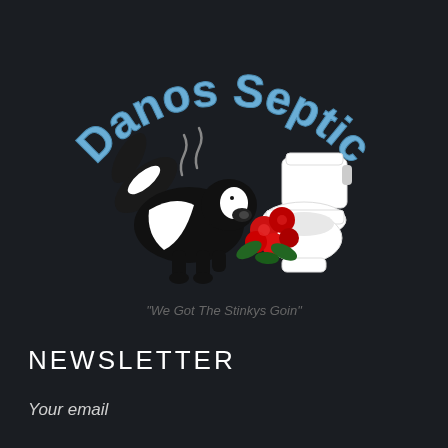[Figure (logo): Danos Septic company logo: arched blue text 'Danos Septic' above a cartoon skunk and anthropomorphic toilet holding red roses, with tagline 'We Got The Stinkys Goin' in gray below]
NEWSLETTER
Your email